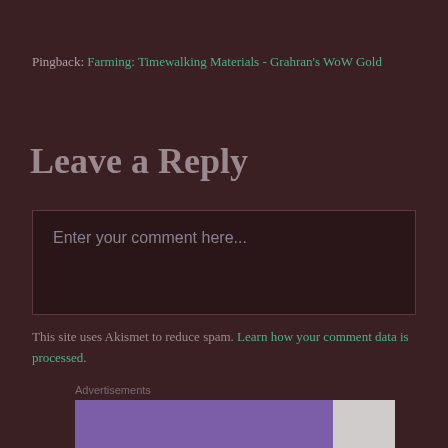Pingback: Farming: Timewalking Materials - Grahran's WoW Gold
Leave a Reply
Enter your comment here...
This site uses Akismet to reduce spam. Learn how your comment data is processed.
Advertisements
[Figure (other): Advertisement banner with purple background and logo]